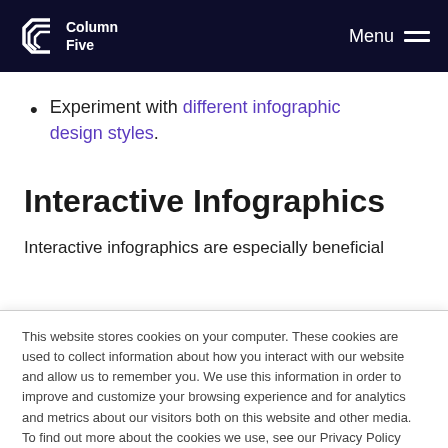Column Five | Menu
Experiment with different infographic design styles.
Interactive Infographics
Interactive infographics are especially beneficial
This website stores cookies on your computer. These cookies are used to collect information about how you interact with our website and allow us to remember you. We use this information in order to improve and customize your browsing experience and for analytics and metrics about our visitors both on this website and other media. To find out more about the cookies we use, see our Privacy Policy
Accept